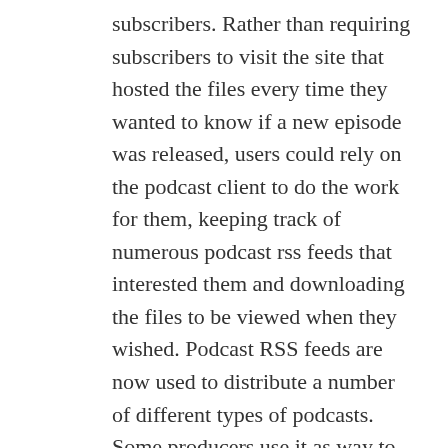subscribers. Rather than requiring subscribers to visit the site that hosted the files every time they wanted to know if a new episode was released, users could rely on the podcast client to do the work for them, keeping track of numerous podcast rss feeds that interested them and downloading the files to be viewed when they wished. Podcast RSS feeds are now used to distribute a number of different types of podcasts. Some producers use it as way to share a comedy or news program that they produce, others podcast in order to share music files they create, and some podcast to share video files they have created and to showcase their work. Podcasting allows the producers to become radio or television stars without